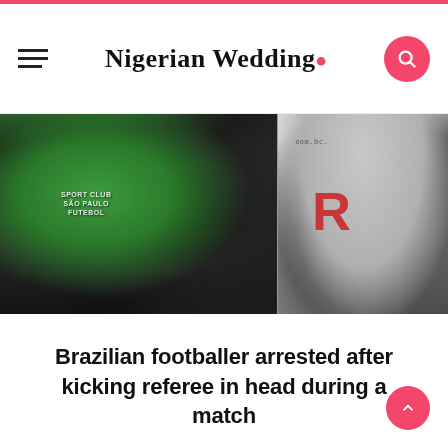Nigerian Wedding •
[Figure (photo): Two side-by-side photos: left shows people in a crowd with someone wearing a green São Paulo jacket; right shows a footballer in white kit kicking with a large red 'R' letter billboard in the background]
Brazilian footballer arrested after kicking referee in head during a match